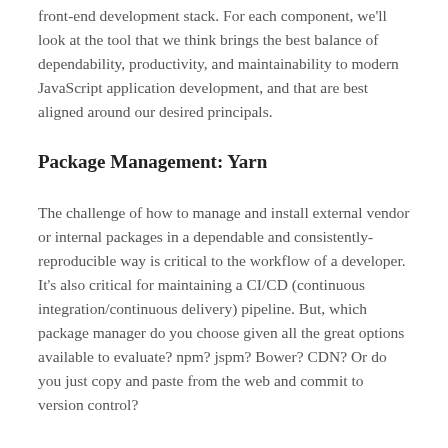front-end development stack. For each component, we'll look at the tool that we think brings the best balance of dependability, productivity, and maintainability to modern JavaScript application development, and that are best aligned around our desired principals.
Package Management: Yarn
The challenge of how to manage and install external vendor or internal packages in a dependable and consistently-reproducible way is critical to the workflow of a developer. It's also critical for maintaining a CI/CD (continuous integration/continuous delivery) pipeline. But, which package manager do you choose given all the great options available to evaluate? npm? jspm? Bower? CDN? Or do you just copy and paste from the web and commit to version control?
Our first article will look at Yarn and how it focuses on